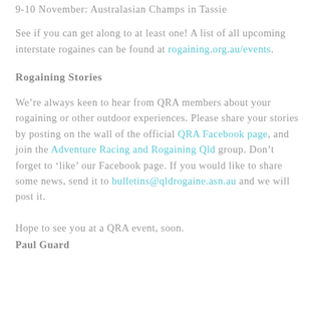9-10 November: Australasian Champs in Tassie
See if you can get along to at least one! A list of all upcoming interstate rogaines can be found at rogaining.org.au/events.
Rogaining Stories
We’re always keen to hear from QRA members about your rogaining or other outdoor experiences. Please share your stories by posting on the wall of the official QRA Facebook page, and join the Adventure Racing and Rogaining Qld group. Don’t forget to ‘like’ our Facebook page. If you would like to share some news, send it to bulletins@qldrogaine.asn.au and we will post it.
Hope to see you at a QRA event, soon.
Paul Guard